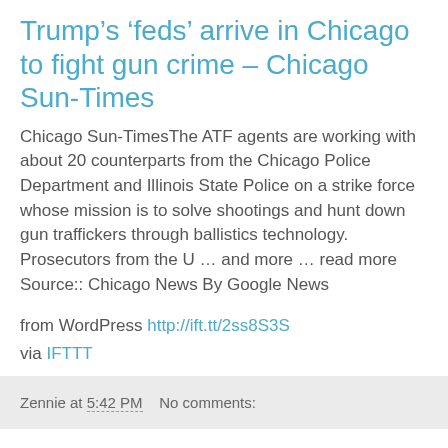Trump’s ‘feds’ arrive in Chicago to fight gun crime – Chicago Sun-Times
Chicago Sun-TimesThe ATF agents are working with about 20 counterparts from the Chicago Police Department and Illinois State Police on a strike force whose mission is to solve shootings and hunt down gun traffickers through ballistics technology. Prosecutors from the U … and more … read more Source:: Chicago News By Google News
from WordPress http://ift.tt/2ss8S3S
via IFTTT
Zennie at 5:42 PM   No comments:
Why Katana Chicago Could Be Different Than Other Sceney Japanese Restaurants – Eater Chicago